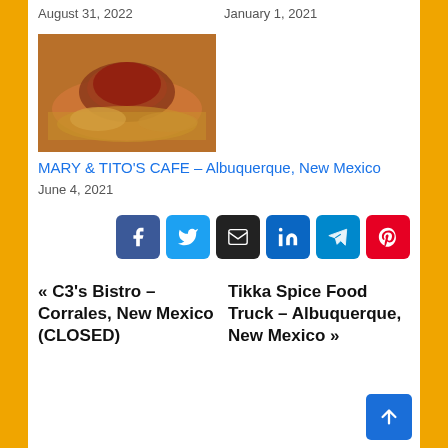August 31, 2022
January 1, 2021
[Figure (photo): Food photo showing a plate with a meat dish covered in red sauce, served alongside rice]
MARY & TITO'S CAFE – Albuquerque, New Mexico
June 4, 2021
[Figure (other): Social share buttons: Facebook, Twitter, Email, LinkedIn, Telegram, Pinterest]
« C3's Bistro – Corrales, New Mexico (CLOSED)
Tikka Spice Food Truck – Albuquerque, New Mexico »